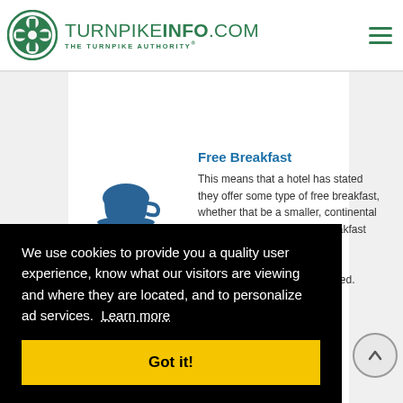TURNPIKEINFO.COM THE TURNPIKE AUTHORITY
Free Breakfast
This means that a hotel has stated they offer some type of free breakfast, whether that be a smaller, continental breakfast or a full-service breakfast bar. Most will state, in their description, the extent of the complimentary breakfast offered.
We use cookies to provide you a quality user experience, know what our visitors are viewing and where they are located, and to personalize ad services. Learn more
Got it!
This icon represents some type of fitness center or workout room that a